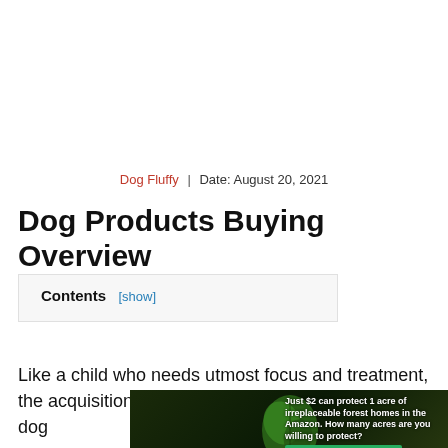Dog Fluffy | Date: August 20, 2021
Dog Products Buying Overview
Contents [show]
Like a child who needs utmost focus and treatment, the acquisition of the most effective supplies for your dog
[Figure (other): Advertisement banner: 'Just $2 can protect 1 acre of irreplaceable forest homes in the Amazon. How many acres are you willing to protect?' with a green 'Protect Forests Now' button and leaf imagery on a dark forest background.]